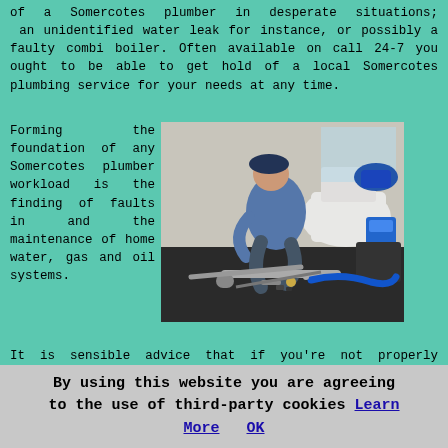of a Somercotes plumber in desperate situations; an unidentified water leak for instance, or possibly a faulty combi boiler. Often available on call 24-7 you ought to be able to get hold of a local Somercotes plumbing service for your needs at any time.
Forming the foundation of any Somercotes plumber workload is the finding of faults in and the maintenance of home water, gas and oil systems. It is sensible advice that if you're not properly qualified you ought not attempt to maintain or fix these yourself as the chances of severe injury as well as damage to your home may happen.
[Figure (photo): A plumber crouching on a bathroom floor working near a toilet, with plumbing tools including pipes, wrenches, and hoses laid out in the foreground.]
By using this website you are agreeing to the use of third-party cookies Learn More OK